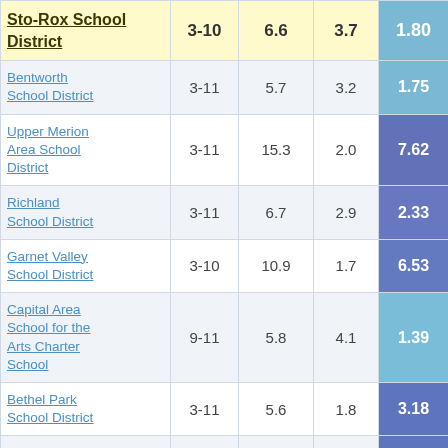| School District | Grades | Col3 | Col4 | Value |
| --- | --- | --- | --- | --- |
| Sto-Rox School District | 3-10 | 6.6 | 3.7 | 1.80 |
| Bentworth School District | 3-11 | 5.7 | 3.2 | 1.75 |
| Upper Merion Area School District | 3-11 | 15.3 | 2.0 | 7.62 |
| Richland School District | 3-11 | 6.7 | 2.9 | 2.33 |
| Garnet Valley School District | 3-10 | 10.9 | 1.7 | 6.53 |
| Capital Area School for the Arts Charter School | 9-11 | 5.8 | 4.1 | 1.39 |
| Bethel Park School District | 3-11 | 5.6 | 1.8 | 3.18 |
| Avon Grove ... |  |  |  |  |